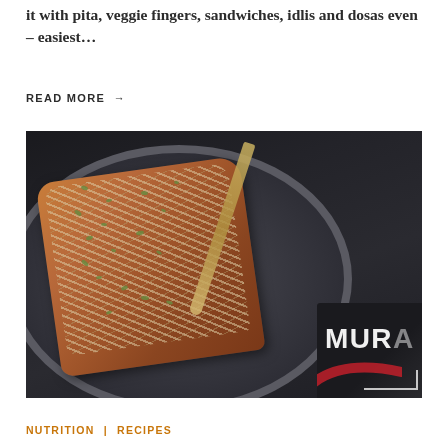it with pita, veggie fingers, sandwiches, idlis and dosas even – easiest...
READ MORE →
[Figure (photo): Overhead shot of a seeded oat-topped bread loaf on a dark plate, with a gold butter knife beside it and a partial MURA branded box in the lower right corner, all on a dark slate surface.]
NUTRITION | RECIPES